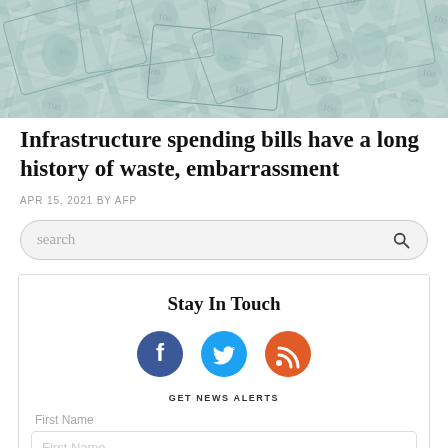[Figure (photo): Close-up photograph of US hundred dollar bills fanned out, teal/green tinted, showing partial portraits of Benjamin Franklin]
Infrastructure spending bills have a long history of waste, embarrassment
APR 15, 2021 BY AFP
search
Stay In Touch
[Figure (infographic): Three social media icons: Facebook (dark blue circle with white f), Twitter (cyan circle with white bird), RSS (orange circle with white feed icon)]
GET NEWS ALERTS
First Name